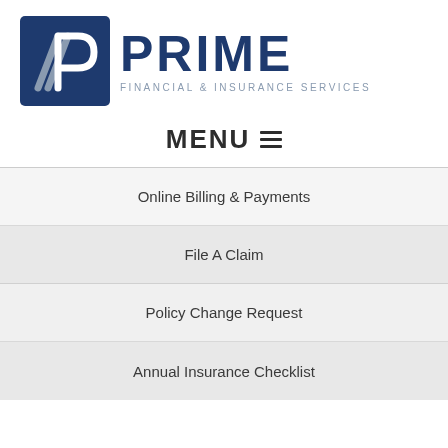[Figure (logo): Prime Financial & Insurance Services logo with blue square icon containing stylized AP letters and diagonal lines, next to bold dark blue PRIME text and gray FINANCIAL & INSURANCE SERVICES subtitle]
MENU ≡
Online Billing & Payments
File A Claim
Policy Change Request
Annual Insurance Checklist